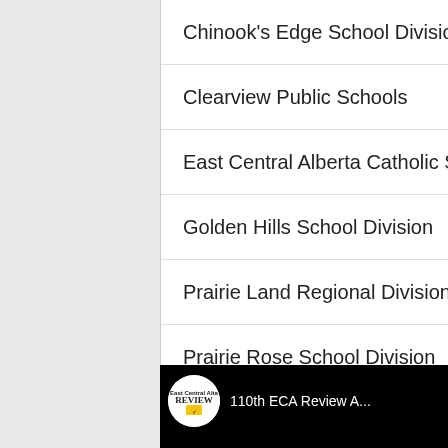Chinook's Edge School Division
Clearview Public Schools
East Central Alberta Catholic Schools
Golden Hills School Division
Prairie Land Regional Division
Prairie Rose School Division
Wolf Creek Public Schools
[Figure (screenshot): YouTube video thumbnail showing '110th ECA Review A...' with a circular Review logo on black background]